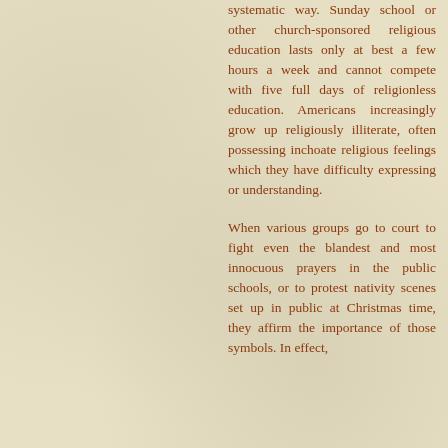systematic way. Sunday school or other church-sponsored religious education lasts only at best a few hours a week and cannot compete with five full days of religionless education. Americans increasingly grow up religiously illiterate, often possessing inchoate religious feelings which they have difficulty expressing or understanding.
When various groups go to court to fight even the blandest and most innocuous prayers in the public schools, or to protest nativity scenes set up in public at Christmas time, they affirm the importance of those symbols. In effect,